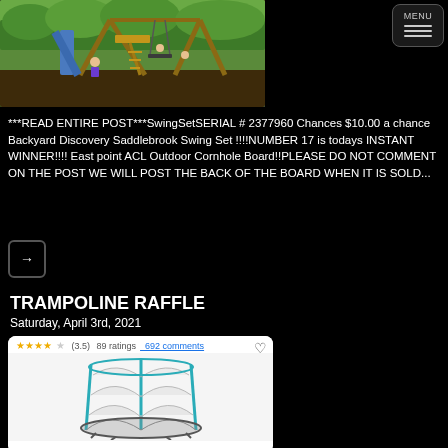[Figure (photo): Outdoor wooden swing set with blue slide and children playing, on black mulch in a backyard]
***READ ENTIRE POST***SwingSetSERIAL # 2377960 Chances $10.00 a chance Backyard Discovery Saddlebrook Swing Set !!!!NUMBER 17 is todays INSTANT WINNER!!!! East point ACL Outdoor Cornhole Board!!PLEASE DO NOT COMMENT ON THE POST WE WILL POST THE BACK OF THE BOARD WHEN IT IS SOLD...
TRAMPOLINE RAFFLE
Saturday, April 3rd, 2021
[Figure (photo): Trampoline with safety enclosure net and teal/blue poles, product listing card showing 3.5 stars, 89 ratings, 692 comments]